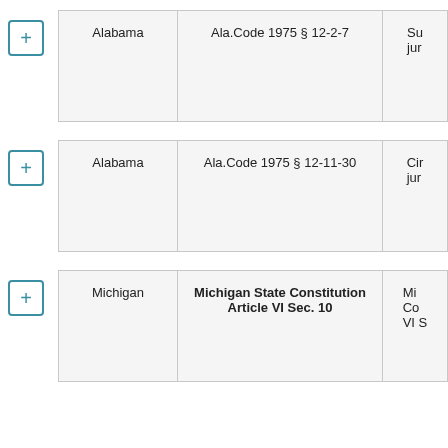|  | State | Code | Description |
| --- | --- | --- | --- |
| + | Alabama | Ala.Code 1975 § 12-2-7 | Su
jur |
| + | Alabama | Ala.Code 1975 § 12-11-30 | Cir
jur |
| + | Michigan | Michigan State Constitution Article VI Sec. 10 | Mi
Co
VI S |